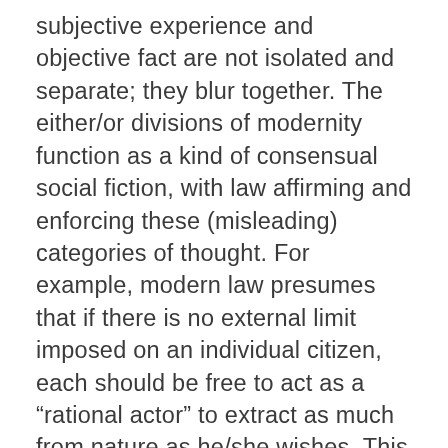subjective experience and objective fact are not isolated and separate; they blur together. The either/or divisions of modernity function as a kind of consensual social fiction, with law affirming and enforcing these (misleading) categories of thought. For example, modern law presumes that if there is no external limit imposed on an individual citizen, each should be free to act as a “rational actor” to extract as much from nature as he/she wishes. This is presumed to improve upon nature, create value and advance human progress. In the modernist worldview that law embodies, individuals are imagined as the primary agents of change, and as isolated agents without history, social commitments or context. This gives individuals permission to be self-regarding and hedonistic